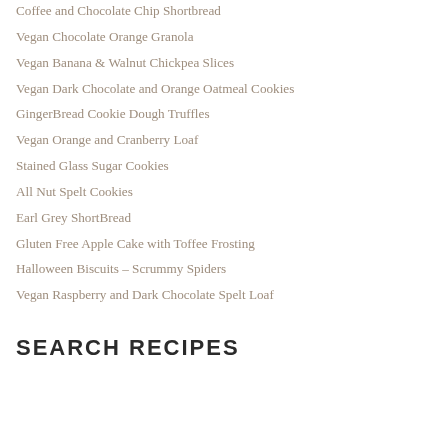Coffee and Chocolate Chip Shortbread
Vegan Chocolate Orange Granola
Vegan Banana & Walnut Chickpea Slices
Vegan Dark Chocolate and Orange Oatmeal Cookies
GingerBread Cookie Dough Truffles
Vegan Orange and Cranberry Loaf
Stained Glass Sugar Cookies
All Nut Spelt Cookies
Earl Grey ShortBread
Gluten Free Apple Cake with Toffee Frosting
Halloween Biscuits – Scrummy Spiders
Vegan Raspberry and Dark Chocolate Spelt Loaf
SEARCH RECIPES